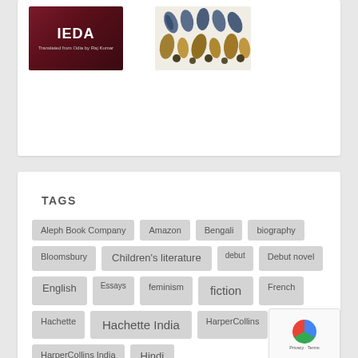[Figure (illustration): Two book covers side by side: left is a dark red/maroon cover with stylized text (partially visible title ending in letters, subtitle 'Translated from Odia by Raj Kumar'), right is a decorative pattern cover with stylized leaf/flower motifs in blue, gold, and brown tones on a light background]
TAGS
Aleph Book Company
Amazon
Bengali
biography
Bloomsbury
Children's literature
debut
Debut novel
English
Essays
feminism
fiction
French
Hachette
Hachette India
HarperCollins
HarperCollins India
Hindi